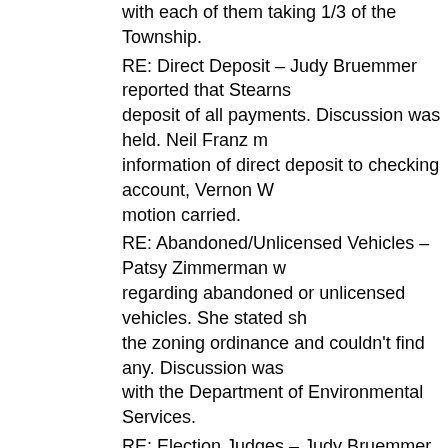with each of them taking 1/3 of the Township.
RE: Direct Deposit – Judy Bruemmer reported that Stearns deposit of all payments. Discussion was held. Neil Franz m information of direct deposit to checking account, Vernon W motion carried.
RE: Abandoned/Unlicensed Vehicles – Patsy Zimmerman regarding abandoned or unlicensed vehicles. She stated sh the zoning ordinance and couldn't find any. Discussion was with the Department of Environmental Services.
RE: Election Judges – Judy Bruemmer presented the list o approval with Judy Bruemmer and Joyce Wimmer being he Vernon Willenbring, Mary Lou Salzl, Linda Theisen, Walter Victor Kotten.
The following warrants were examined, verified and ordere
6228 Ron Kalthoff zoning meeting $ 29.64
6229 Donald Linz zoning meeting 29.64
6230 Stearns Cty Aud/Treas assessing fees 6806.25
6231 Pat Schmitz Mowing road ditch cutting 1241.00
6232 Stearns Electric monthly electric bill 64.93
6233 Math Schmitz zoning meeting 29.64